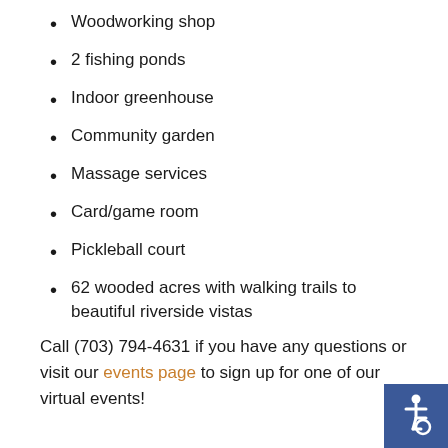Woodworking shop
2 fishing ponds
Indoor greenhouse
Community garden
Massage services
Card/game room
Pickleball court
62 wooded acres with walking trails to beautiful riverside vistas
Call (703) 794-4631 if you have any questions or visit our events page to sign up for one of our virtual events!